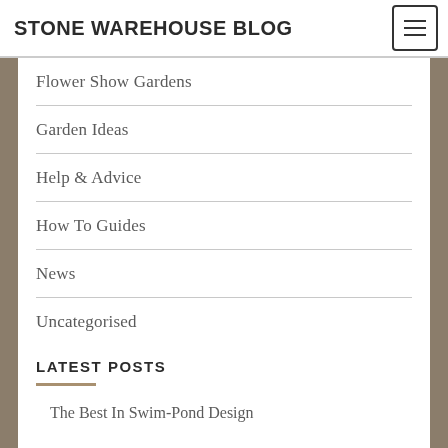STONE WAREHOUSE BLOG
Flower Show Gardens
Garden Ideas
Help & Advice
How To Guides
News
Uncategorised
LATEST POSTS
The Best In Swim-Pond Design